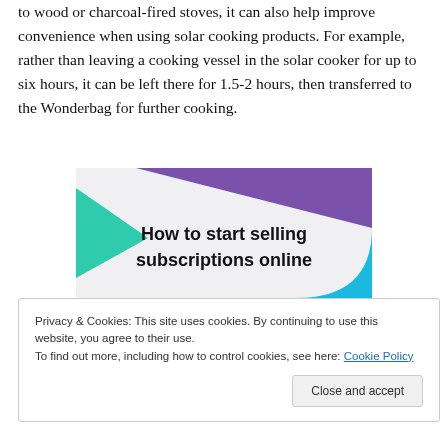to wood or charcoal-fired stoves, it can also help improve convenience when using solar cooking products. For example, rather than leaving a cooking vessel in the solar cooker for up to six hours, it can be left there for 1.5-2 hours, then transferred to the Wonderbag for further cooking.
[Figure (illustration): Promotional banner with geometric shapes (purple triangle top, green triangle left, blue curve right) on light gray background with bold text 'How to start selling subscriptions online']
Privacy & Cookies: This site uses cookies. By continuing to use this website, you agree to their use.
To find out more, including how to control cookies, see here: Cookie Policy
Close and accept